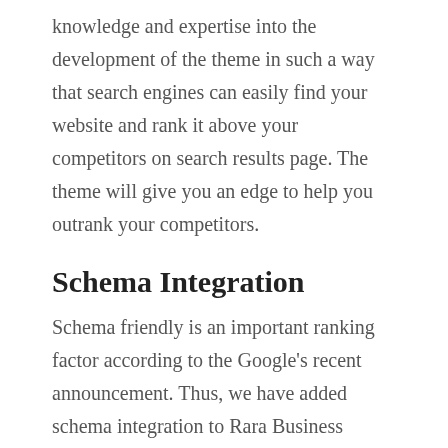knowledge and expertise into the development of the theme in such a way that search engines can easily find your website and rank it above your competitors on search results page. The theme will give you an edge to help you outrank your competitors.
Schema Integration
Schema friendly is an important ranking factor according to the Google's recent announcement. Thus, we have added schema integration to Rara Business which will help boost your website's search engine ranking and have an edge over your competitors.